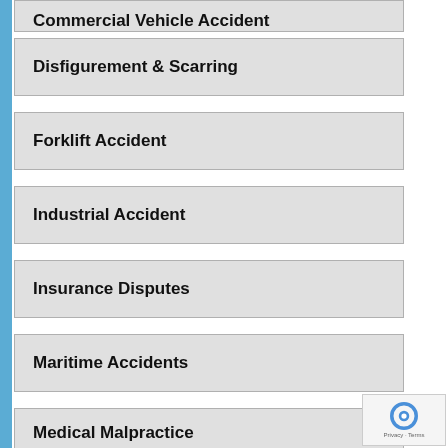Commercial Vehicle Accident
Disfigurement & Scarring
Forklift Accident
Industrial Accident
Insurance Disputes
Maritime Accidents
Medical Malpractice
Negligence